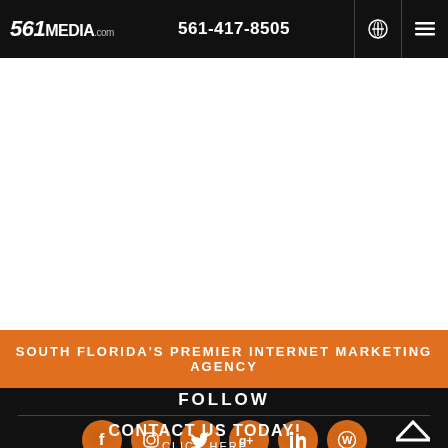561MEDIA.com  561-417-8505
[Figure (other): White content area placeholder]
SOUTH FLORIDA'S PREMIER INTERNET MARKETING AGENCY
FOLLOW
[Figure (other): Social media icons row: Facebook, Instagram, Twitter, Google+, LinkedIn, WordPress]
CONTACT US TODAY! CLICK HERE
TO TOP